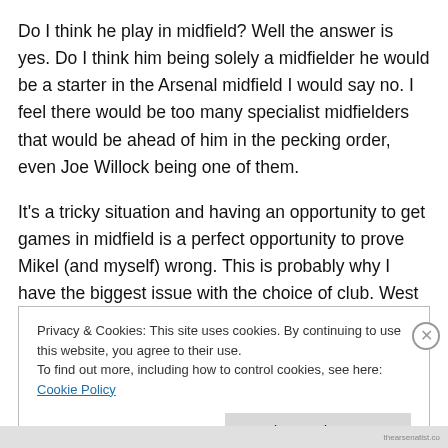Do I think he play in midfield? Well the answer is yes. Do I think him being solely a midfielder he would be a starter in the Arsenal midfield I would say no. I feel there would be too many specialist midfielders that would be ahead of him in the pecking order, even Joe Willock being one of them.
It’s a tricky situation and having an opportunity to get games in midfield is a perfect opportunity to prove Mikel (and myself) wrong. This is probably why I have the biggest issue with the choice of club. West Brom with Sam
Privacy & Cookies: This site uses cookies. By continuing to use this website, you agree to their use.
To find out more, including how to control cookies, see here: Cookie Policy